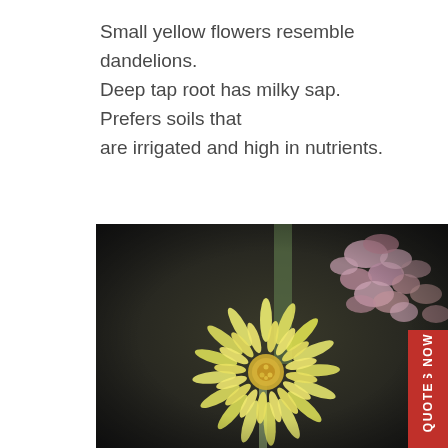Small yellow flowers resemble dandelions. Deep tap root has milky sap. Prefers soils that are irrigated and high in nutrients.
[Figure (photo): Close-up photograph of a small yellow dandelion-like flower with many elongated petals, with pink/purple buds visible on a stem in the upper right, against a dark blurred background.]